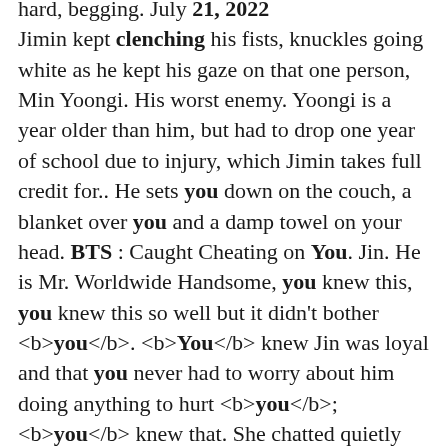hard, begging. July 21, 2022 Jimin kept clenching his fists, knuckles going white as he kept his gaze on that one person, Min Yoongi. His worst enemy. Yoongi is a year older than him, but had to drop one year of school due to injury, which Jimin takes full credit for.. He sets you down on the couch, a blanket over you and a damp towel on your head. BTS : Caught Cheating on You. Jin. He is Mr. Worldwide Handsome, you knew this, you knew this so well but it didn't bother <b>you</b>. <b>You</b> knew Jin was loyal and that you never had to worry about him doing anything to hurt <b>you</b>; <b>you</b> knew that. She chatted quietly with you as you maneuvered yourself into the passenger seat. You gave the hospital one last look, as your friend was off to your apartment. Arriving to your apartment, you were informed by the manager that someone had left several boxes for you, and that they